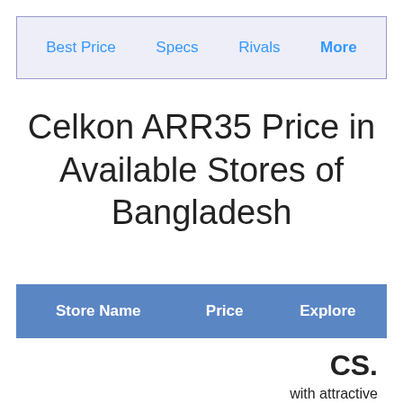Best Price   Specs   Rivals   More
Celkon ARR35 Price in Available Stores of Bangladesh
| Store Name | Price | Explore |
| --- | --- | --- |
CS. with attractive per